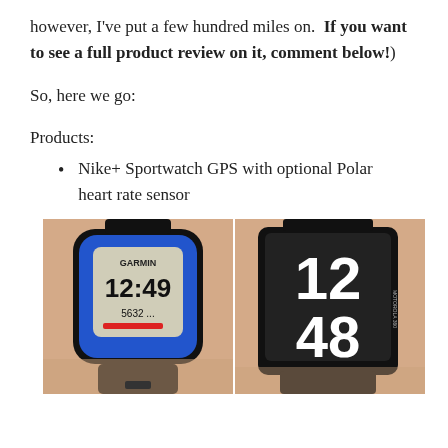however, I've put a few hundred miles on.  If you want to see a full product review on it, comment below!)
So, here we go:
Products:
Nike+ Sportwatch GPS with optional Polar heart rate sensor
[Figure (photo): Two sports watches worn on wrists side by side. Left: a Garmin GPS watch with blue ring bezel showing time 12:49 and 5632 steps. Right: a black smartwatch showing time 12:48 in large digits.]